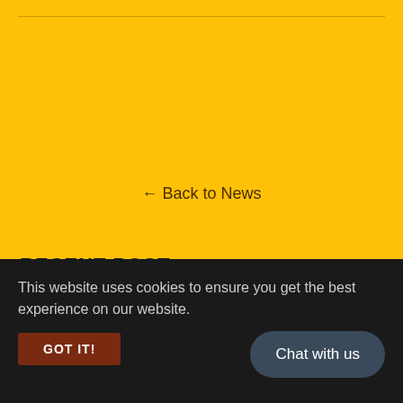[Figure (other): Yellow background section with horizontal divider line near top]
← Back to News
RECENT POST
FEBRUARY 18, 2022
Some of You Might Be Wo
This website uses cookies to ensure you get the best experience on our website.
GOT IT!
Chat with us